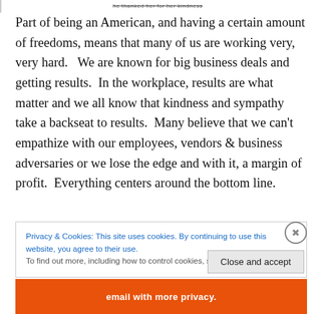he thanked her for her kindness
Part of being an American, and having a certain amount of freedoms, means that many of us are working very, very hard.   We are known for big business deals and getting results.  In the workplace, results are what matter and we all know that kindness and sympathy take a backseat to results.  Many believe that we can't empathize with our employees, vendors & business adversaries or we lose the edge and with it, a margin of profit.  Everything centers around the bottom line.
Privacy & Cookies: This site uses cookies. By continuing to use this website, you agree to their use.
To find out more, including how to control cookies, see here: Cookie Policy
Close and accept
email with more privacy.